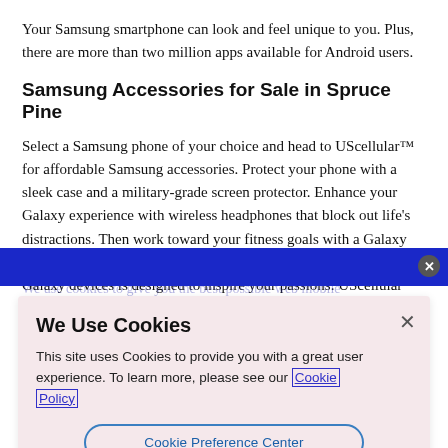Your Samsung smartphone can look and feel unique to you. Plus, there are more than two million apps available for Android users.
Samsung Accessories for Sale in Spruce Pine
Select a Samsung phone of your choice and head to UScellular™ for affordable Samsung accessories. Protect your phone with a sleek case and a military-grade screen protector. Enhance your Galaxy experience with wireless headphones that block out life's distractions. Then work toward your fitness goals with a Galaxy Watch that puts healthy living within reach. Samsung's universe of Galaxy devices is designed to inspire your passions. UScellular™ is
[Figure (screenshot): Cookie consent banner overlay on top of webpage content. The banner has a pink/lavender background and contains the title 'We Use Cookies', body text about cookie usage with a link to 'Cookie Policy', and a 'Cookie Preference Center' button. A blue bar overlay and close buttons are also present.]